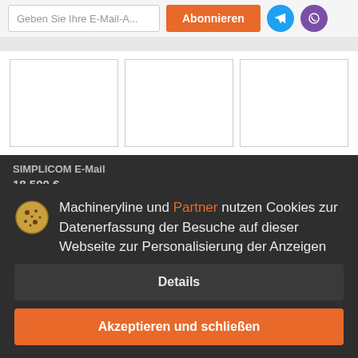[Figure (screenshot): Top subscription bar with email input, orange Abonnieren button, blue Telegram icon button, purple Viber icon button]
[Figure (screenshot): Three white card placeholders in a row on white background]
SIMPLICOM E-Mail 18.500 € Grabenf... Jahr: 2009 Deutschland, Much
Machineryline und Partner nutzen Cookies zur Datenerfassung der Besuche auf dieser Webseite zur Personalisierung der Anzeigen
Details
Akzeptieren und schließen